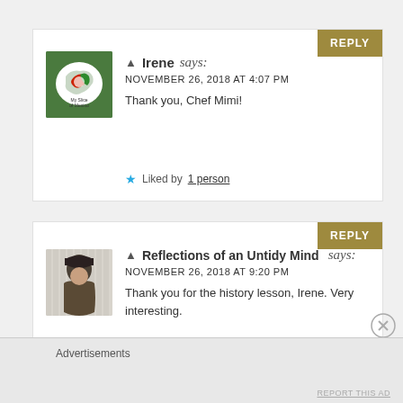Irene says: NOVEMBER 26, 2018 AT 4:07 PM
Thank you, Chef Mimi!
Liked by 1 person
Reflections of an Untidy Mind says: NOVEMBER 26, 2018 AT 9:20 PM
Thank you for the history lesson, Irene. Very interesting.
Like
Advertisements